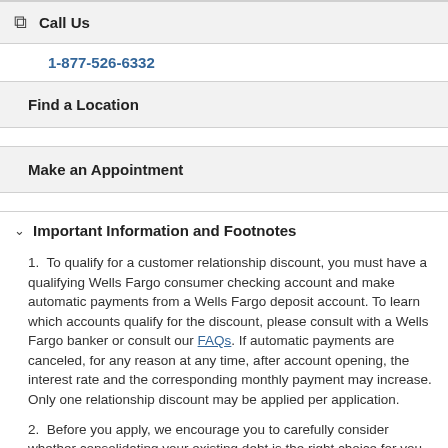Call Us
1-877-526-6332
Find a Location
Make an Appointment
Important Information and Footnotes
1.  To qualify for a customer relationship discount, you must have a qualifying Wells Fargo consumer checking account and make automatic payments from a Wells Fargo deposit account. To learn which accounts qualify for the discount, please consult with a Wells Fargo banker or consult our FAQs. If automatic payments are canceled, for any reason at any time, after account opening, the interest rate and the corresponding monthly payment may increase. Only one relationship discount may be applied per application.
2.  Before you apply, we encourage you to carefully consider whether consolidating your existing debt is the right choice for you. Consolidating multiple debts means you will have a single payment monthly, but it may not reduce or pay your debt off sooner. The